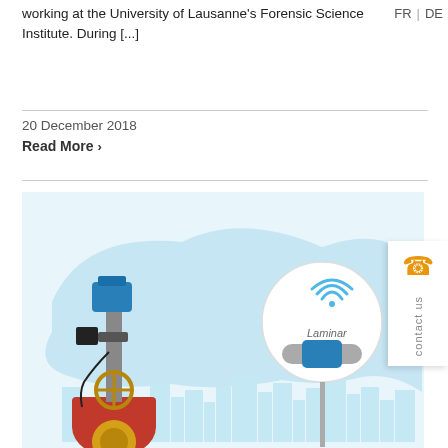working at the University of Lausanne's Forensic Science Institute. During [...]
FR DE
20 December 2018
Read More ›
[Figure (illustration): Industrial water infrastructure illustration showing a red valve/pump assembly on the left with electronic monitoring equipment attached, a light blue silhouette of a city skyline and cloud shape in the background, and a circular inset on the right showing a wireless IoT flow sensor device (Laminar brand) with WiFi symbol above it.]